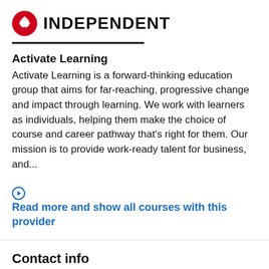INDEPENDENT
Activate Learning
Activate Learning is a forward-thinking education group that aims for far-reaching, progressive change and impact through learning. We work with learners as individuals, helping them make the choice of course and career pathway that's right for them. Our mission is to provide work-ready talent for business, and...
Read more and show all courses with this provider
Contact info